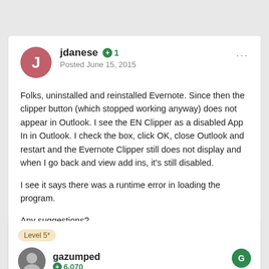jdanese +1 Posted June 15, 2015
Folks, uninstalled and reinstalled Evernote. Since then the clipper button (which stopped working anyway) does not appear in Outlook. I see the EN Clipper as a disabled App In in Outlook. I check the box, click OK, close Outlook and restart and the Evernote Clipper still does not display and when I go back and view add ins, it's still disabled.
I see it says there was a runtime error in loading the program.
Any suggestions?
https://dl.dropboxusercontent.com/u/43751503/Misc/en%20clipper.JPG
Level 5*
gazumped +6,070